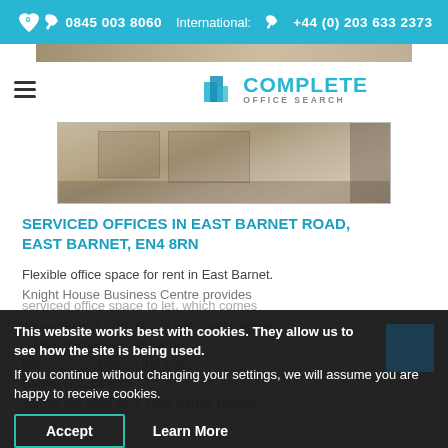0845 003 8060  International: +44 (0) 203 633 2373
[Figure (logo): Complete Office Search logo with teal building icon]
[Figure (photo): Building exterior photo strip at top of page]
[Figure (photo): Knight House Business Centre exterior building photo]
SERVICED OFFICES IN EAST BARNET ROAD, EAST BARNET, EN4 8RN
Flexible office space for rent in East Barnet. Knight House Business Centre provides serviced office space to let, which comes equipped with both phone lines and internet facilities...
This website works best with cookies. They allow us to see how the site is being used.
If you continue without changing your settings, we will assume you are happy to receive cookies.